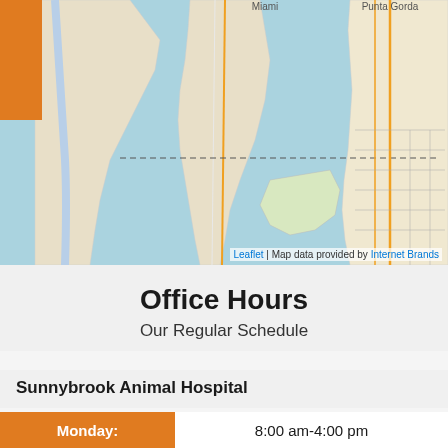[Figure (map): Map showing coastal Florida area near Miami and Punta Gorda, with water bodies in light blue and land in tan/beige, with orange location marker tab on top left. Attribution: Leaflet | Map data provided by Internet Brands.]
Office Hours
Our Regular Schedule
Sunnybrook Animal Hospital
| Day | Hours |
| --- | --- |
| Monday: | 8:00 am-4:00 pm |